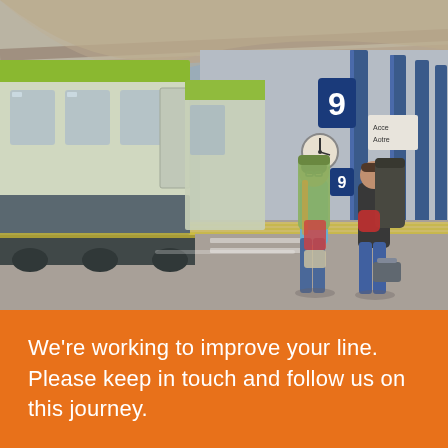[Figure (photo): Two travellers with large backpacks walk along a train platform (Platform 9) beside a green and white passenger train. A railway worker in an orange vest is visible in the background. Blue steel pillars line the platform canopy.]
We're working to improve your line. Please keep in touch and follow us on this journey.